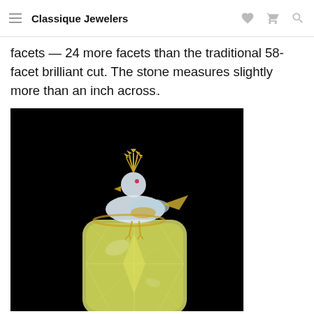Classique Jewelers
facets — 24 more facets than the traditional 58-facet brilliant cut. The stone measures slightly more than an inch across.
[Figure (photo): A jeweled bird brooch made of white and yellow diamonds perched atop a large cushion-cut yellow diamond (the Tiffany Yellow Diamond) against a black background.]